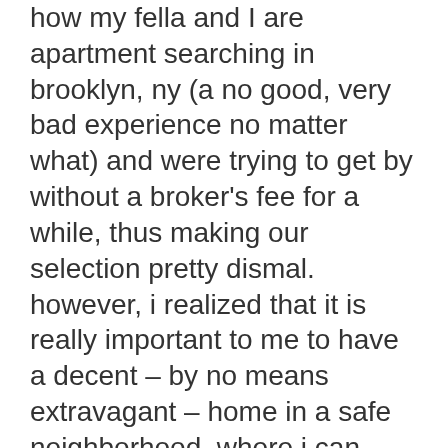how my fella and I are apartment searching in brooklyn, ny (a no good, very bad experience no matter what) and were trying to get by without a broker's fee for a while, thus making our selection pretty dismal. however, i realized that it is really important to me to have a decent – by no means extravagant – home in a safe neighborhood, where i can walk to a farmer's market, a library, restaurants, etc. it's worth not going out for a while and eating beans and rice for lunch every day (but i do make some delicious beans and rice) to save up for a broker's fee and have a comfortable place to call home.